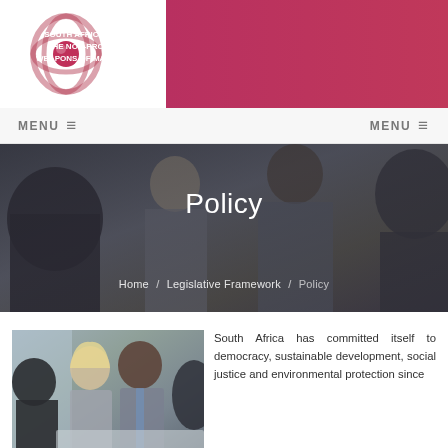SOUTH AFRICAN COUNCIL FOR THE NON-PROLIFERATION OF WEAPONS OF MASS DESTRUCTION
[Figure (logo): South African Council for the Non-Proliferation of Weapons of Mass Destruction logo — circular geometric design with red sphere]
MENU  MENU
[Figure (photo): Hero banner photo of business professionals in a meeting room, overlaid with a dark semi-transparent tint]
Policy
Home / Legislative Framework / Policy
[Figure (photo): Photo of diverse business professionals in a meeting — woman with blonde hair, man in grey suit smiling, others around a table]
South Africa has committed itself to democracy, sustainable development, social justice and environmental protection since